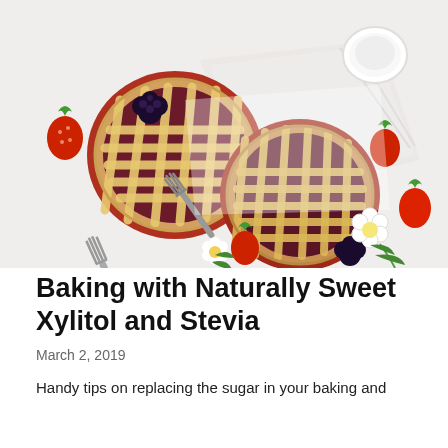[Figure (photo): Top-down view of two small berry lattice pies in red dishes on a white surface, surrounded by strawberries, blackberries, white flowers, forks, a tea cup, and a folded white cloth napkin.]
Baking with Naturally Sweet Xylitol and Stevia
March 2, 2019
Handy tips on replacing the sugar in your baking and